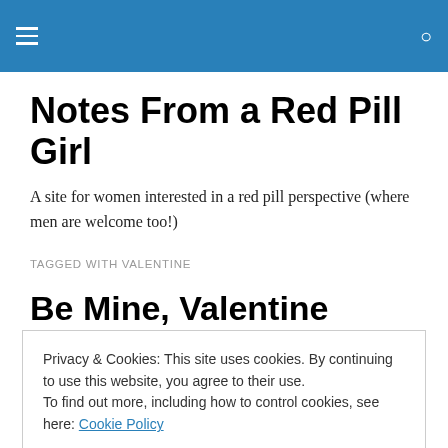Notes From a Red Pill Girl — site header navigation bar
Notes From a Red Pill Girl
A site for women interested in a red pill perspective (where men are welcome too!)
TAGGED WITH VALENTINE
Be Mine, Valentine
Privacy & Cookies: This site uses cookies. By continuing to use this website, you agree to their use.
To find out more, including how to control cookies, see here: Cookie Policy